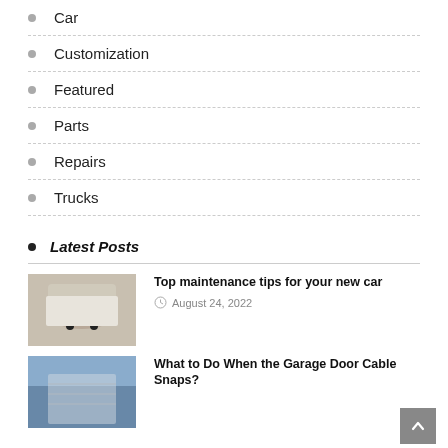Car
Customization
Featured
Parts
Repairs
Trucks
Latest Posts
Top maintenance tips for your new car
August 24, 2022
What to Do When the Garage Door Cable Snaps?